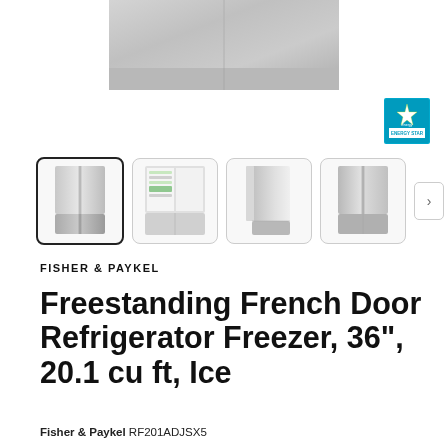[Figure (photo): Main product image of Fisher & Paykel Freestanding French Door Refrigerator Freezer, stainless steel, shown from front]
[Figure (logo): Energy Star certification logo in blue and white]
[Figure (photo): Four thumbnail images of the refrigerator: front closed, open interior, side view, angled front view, with next arrow button]
FISHER & PAYKEL
Freestanding French Door Refrigerator Freezer, 36", 20.1 cu ft, Ice
Fisher & Paykel RF201ADJSX5